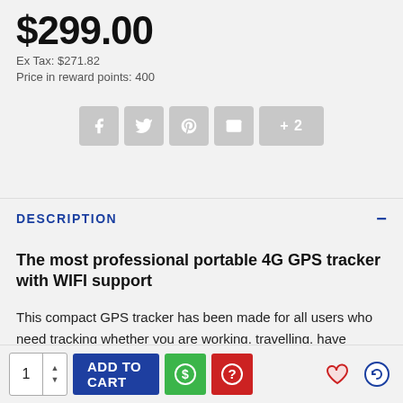$299.00
Ex Tax: $271.82
Price in reward points: 400
[Figure (other): Social share buttons: Facebook, Twitter, Pinterest, Email, +2 more]
DESCRIPTION
The most professional portable 4G GPS tracker  with WIFI support
This compact GPS tracker has been made for all users who need tracking whether you are working, travelling, have elderly parents or even have kids who need surveillance, this tracker has you covered in all the areas. The lightweight device includes wireless charging, the outer protection has been specifically designed to any potential water and
[Figure (other): Bottom action bar: quantity selector, ADD TO CART button, dollar icon button (green), question icon button (red), heart icon, compare icon]